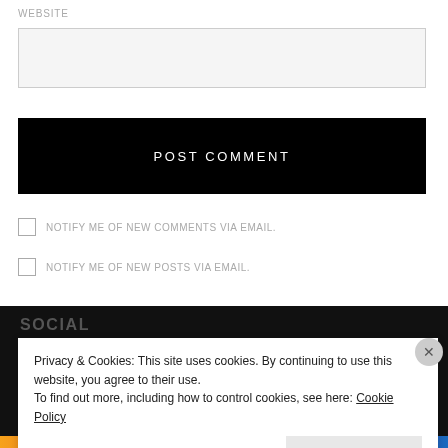WEBSITE
[Figure (other): Empty website text input field]
POST COMMENT
NOTIFY ME OF NEW COMMENTS VIA EMAIL.
NOTIFY ME OF NEW POSTS VIA EMAIL.
SOCIAL
Privacy & Cookies: This site uses cookies. By continuing to use this website, you agree to their use.
To find out more, including how to control cookies, see here: Cookie Policy
Close and accept